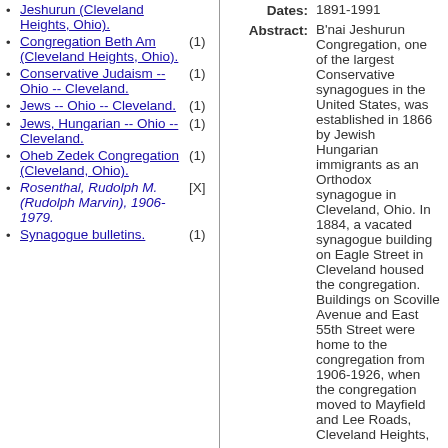Jeshurun (Cleveland Heights, Ohio).
Congregation Beth Am (Cleveland Heights, Ohio). (1)
Conservative Judaism -- Ohio -- Cleveland. (1)
Jews -- Ohio -- Cleveland. (1)
Jews, Hungarian -- Ohio -- Cleveland. (1)
Oheb Zedek Congregation (Cleveland, Ohio). (1)
Rosenthal, Rudolph M. (Rudolph Marvin), 1906-1979. [X]
Synagogue bulletins. (1)
Dates: 1891-1991
Abstract: B'nai Jeshurun Congregation, one of the largest Conservative synagogues in the United States, was established in 1866 by Jewish Hungarian immigrants as an Orthodox synagogue in Cleveland, Ohio. In 1884, a vacated synagogue building on Eagle Street in Cleveland housed the congregation. Buildings on Scoville Avenue and East 55th Street were home to the congregation from 1906-1926, when the congregation moved to Mayfield and Lee Roads, Cleveland Heights,